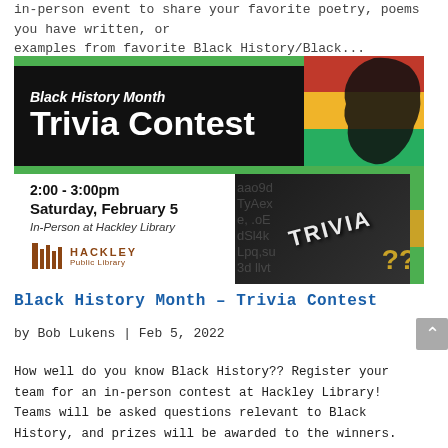in-person event to share your favorite poetry, poems you have written, or examples from favorite Black History/Black...
[Figure (illustration): Black History Month Trivia Contest event flyer. Black banner with white italic 'Black History Month' and large white 'Trivia Contest' text, green stripe, Africa map silhouette in red/yellow/green, and lower section with event details: 2:00 - 3:00pm Saturday, February 5, In-Person at Hackley Library, Hackley Public Library logo, plus a dark trivia photo panel with gold question marks.]
Black History Month – Trivia Contest
by Bob Lukens | Feb 5, 2022
How well do you know Black History?? Register your team for an in-person contest at Hackley Library! Teams will be asked questions relevant to Black History, and prizes will be awarded to the winners. **Limited